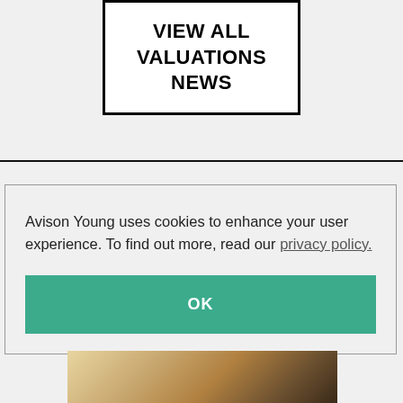VIEW ALL VALUATIONS NEWS
Avison Young uses cookies to enhance your user experience. To find out more, read our privacy policy.
OK
[Figure (photo): Partial view of a building or architectural structure at the bottom of the page]